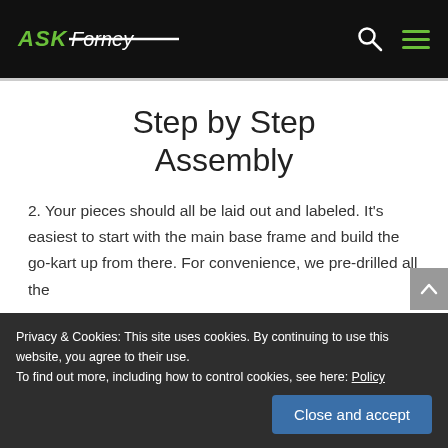Ask Forney
Step by Step Assembly
2. Your pieces should all be laid out and labeled. It's easiest to start with the main base frame and build the go-kart up from there. For convenience, we pre-drilled all the gas pedals as well as the seats, your
Privacy & Cookies: This site uses cookies. By continuing to use this website, you agree to their use.
To find out more, including how to control cookies, see here: Policy
Close and accept